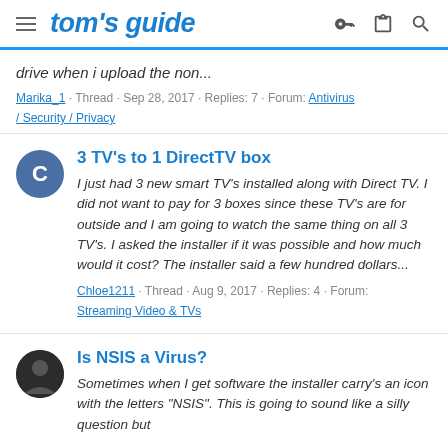tom's guide
drive when i upload the non...
Marika_1 · Thread · Sep 28, 2017 · Replies: 7 · Forum: Antivirus / Security / Privacy
3 TV's to 1 DirectTV box
I just had 3 new smart TV's installed along with Direct TV. I did not want to pay for 3 boxes since these TV's are for outside and I am going to watch the same thing on all 3 TV's. I asked the installer if it was possible and how much would it cost? The installer said a few hundred dollars...
Chloe1211 · Thread · Aug 9, 2017 · Replies: 4 · Forum: Streaming Video & TVs
Is NSIS a Virus?
Sometimes when I get software the installer carry's an icon with the letters "NSIS". This is going to sound like a silly question but